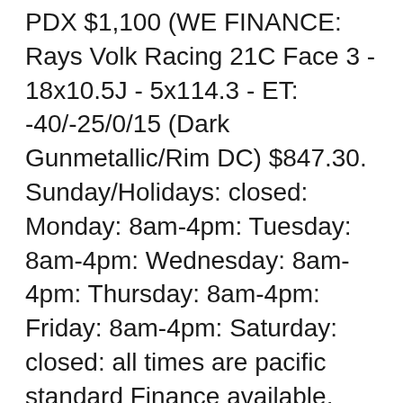PDX $1,100 (WE FINANCE: Rays Volk Racing 21C Face 3 - 18x10.5J - 5x114.3 - ET: -40/-25/0/15 (Dark Gunmetallic/Rim DC) $847.30. Sunday/Holidays: closed: Monday: 8am-4pm: Tuesday: 8am-4pm: Wednesday: 8am-4pm: Thursday: 8am-4pm: Friday: 8am-4pm: Saturday: closed: all times are pacific standard Finance available. looking for set of 5. All lug nuts come with the wheels and are 19mm with the exception of one nut on each wheel is 18mm. Design: TRD Pro Style Finish: Matte Black * Matte Grey Wheel Spec: Size/Width/Offset: 17x8 * ET15 Bolt Pattern: 6x139.7 Center-bore: 106 TPMS Compatible VIA & JWL Cert Reference no. 🏶 🆎🆂🆎🆂🆂 F $990... (Ford C...